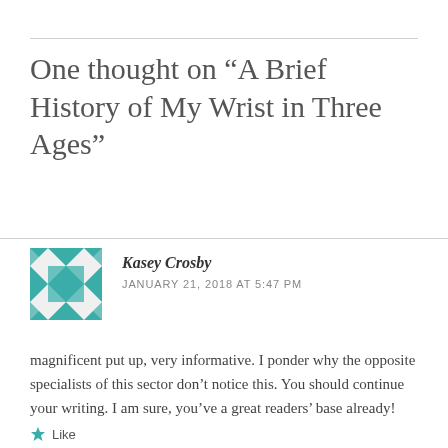One thought on “A Brief History of My Wrist in Three Ages”
Kasey Crosby
JANUARY 21, 2018 AT 5:47 PM
magnificent put up, very informative. I ponder why the opposite specialists of this sector don’t notice this. You should continue your writing. I am sure, you’ve a great readers’ base already!
Like